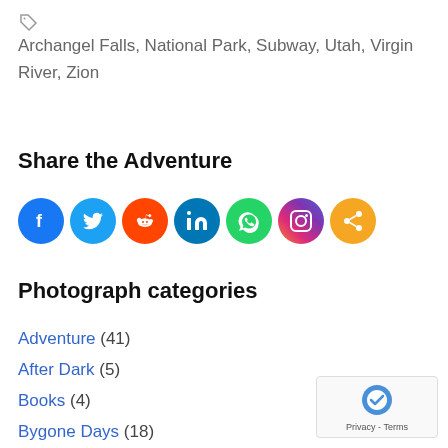🏷 Archangel Falls, National Park, Subway, Utah, Virgin River, Zion
Share the Adventure
[Figure (infographic): Row of social media sharing icons: Facebook (blue), Twitter (blue), Reddit (orange-red), LinkedIn (blue), WhatsApp (green), Instagram (gradient pink/purple/orange), Share (orange)]
Photograph categories
Adventure (41)
After Dark (5)
Books (4)
Bygone Days (18)
Deep Space (3)